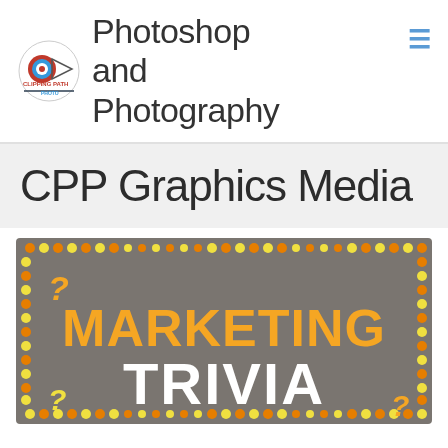Photoshop and Photography
CPP Graphics Media
[Figure (infographic): Marketing Trivia infographic with orange and yellow dot border on gray background, showing 'MARKETING TRIVIA' text with question marks in corners]